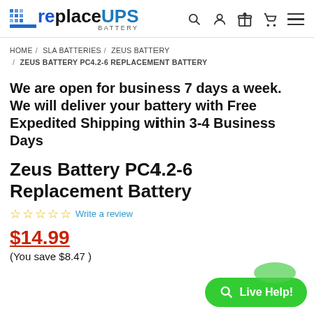replaceUPS BATTERY — header with search, account, gift, cart, and menu icons
HOME / SLA BATTERIES / ZEUS BATTERY / ZEUS BATTERY PC4.2-6 REPLACEMENT BATTERY
We are open for business 7 days a week. We will deliver your battery with Free Expedited Shipping within 3-4 Business Days
Zeus Battery PC4.2-6 Replacement Battery
☆☆☆☆☆ Write a review
$14.99 (You save $8.47)